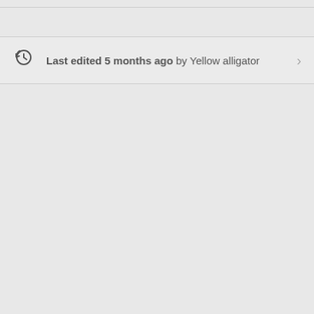Last edited 5 months ago by Yellow alligator